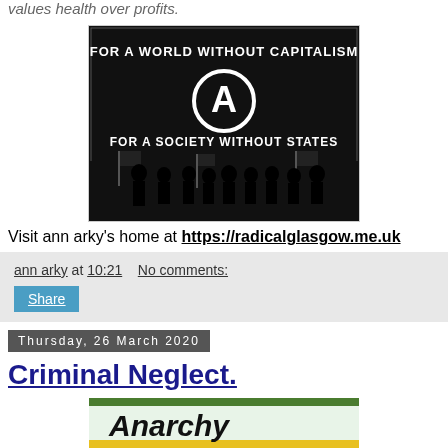values health over profits.
[Figure (illustration): Black and white illustration of protest silhouettes holding flags with text 'FOR A WORLD WITHOUT CAPITALISM' and 'FOR A SOCIETY WITHOUT STATES' with an anarchy symbol circle-A in the center.]
Visit ann arky's home at https://radicalglasgow.me.uk
ann arky at 10:21   No comments:
Share
Thursday, 26 March 2020
Criminal Neglect.
[Figure (illustration): Partial image showing 'Anarchy' text logo in black bold letters on colorful background.]